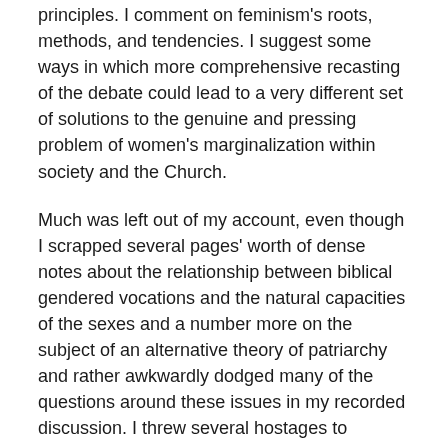principles. I comment on feminism's roots, methods, and tendencies. I suggest some ways in which more comprehensive recasting of the debate could lead to a very different set of solutions to the genuine and pressing problem of women's marginalization within society and the Church.
Much was left out of my account, even though I scrapped several pages' worth of dense notes about the relationship between biblical gendered vocations and the natural capacities of the sexes and a number more on the subject of an alternative theory of patriarchy and rather awkwardly dodged many of the questions around these issues in my recorded discussion. I threw several hostages to fortune, and I can already think of glaring flaws (more will occur to me in the morning). I considered not posting any of this at all.